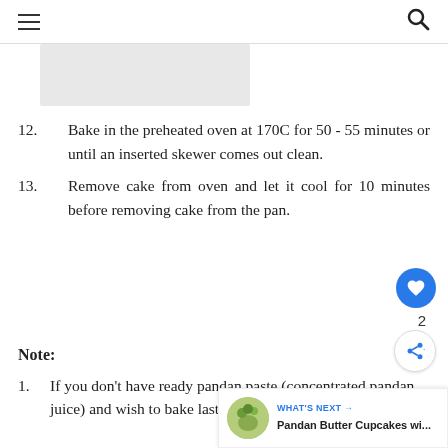☰  🔍
[Figure (photo): Small rectangular image placeholder (grey box) visible in upper area]
12. Bake in the preheated oven at 170C for 50 - 55 minutes or until an inserted skewer comes out clean.
13. Remove cake from oven and let it cool for 10 minutes before removing cake from the pan.
Note:
1. If you don't have ready pandan paste (concentrated pandan juice) and wish to bake last minute. You may